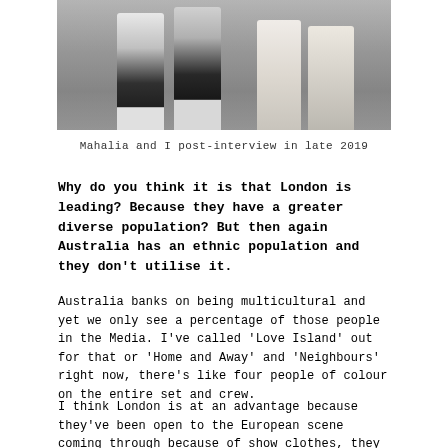[Figure (photo): Photo of two people's lower bodies, showing legs and shoes on what appears to be a sports field or outdoor area. One person wears patterned leggings and the other wears light-colored pants with white Nike shoes.]
Mahalia and I post-interview in late 2019
Why do you think it is that London is leading? Because they have a greater diverse population? But then again Australia has an ethnic population and they don't utilise it.
Australia banks on being multicultural and yet we only see a percentage of those people in the Media. I've called 'Love Island' out for that or 'Home and Away' and 'Neighbours' right now, there's like four people of colour on the entire set and crew.
I think London is at an advantage because they've been open to the European scene coming through because of show clothes, they have influenced models coming through because of that. I just feel like we are now how London was. For that reason it